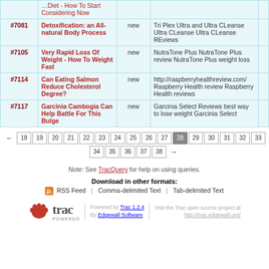| Ticket | Summary | Status | Keywords |
| --- | --- | --- | --- |
|  | …Diet - How To Start Considering Now |  |  |
| #7081 | Detoxification: an All-natural Body Process | new | Tri Plex Ultra and Ultra CLeanse Ultra CLeanse Ultra CLeanse REviews |
| #7105 | Very Rapid Loss Of Weight - How To Weight Fast | new | NutraTone Plus NutraTone Plus review NutraTone Plus weight loss |
| #7114 | Can Eating Salmon Reduce Cholesterol Degree? | new | http://raspberryhealthreview.com/ Raspberry Health review Raspberry Health reviews |
| #7117 | Garcinia Cambogia Can Help Battle For This Bulge | new | Garcinia Select Reviews best way to lose weight Garcinia Select |
← 18 19 20 21 22 23 24 25 26 27 28 29 30 31 32 33 34 35 36 37 38 →
Note: See TracQuery for help on using queries.
Download in other formats:
RSS Feed  Comma-delimited Text  Tab-delimited Text
Powered by Trac 1.2.4 By Edgewall Software. Visit the Trac open source project at http://trac.edgewall.org/